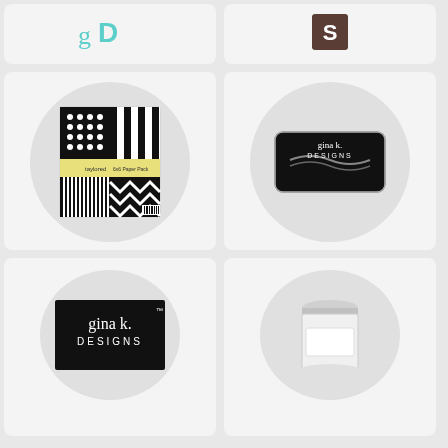[Figure (logo): gD logo in teal/cyan color]
[Figure (logo): S logo brown square (Simon Says Stamp)]
[Figure (photo): TE 6x6 Paper Packs product image showing black and white patterned papers]
TE 6x6 Paper Packs
buy from
[Figure (logo): te logo circle teal]
[Figure (photo): Gina K Designs black embossing ink pad]
Gina K Designs EMBOSSING AND WATERMARK Ink Pad 4267 at Simon Says STAMP!
buy from
[Figure (logo): deer icon and gD logo]
[Figure (logo): Gina K Designs logo black square]
[Figure (photo): White cylindrical container product]